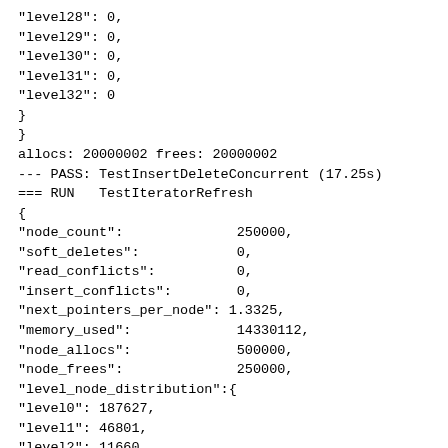"level28": 0,
"level29": 0,
"level30": 0,
"level31": 0,
"level32": 0
}
}
allocs: 20000002 frees: 20000002
--- PASS: TestInsertDeleteConcurrent (17.25s)
=== RUN   TestIteratorRefresh
{
"node_count":              250000,
"soft_deletes":            0,
"read_conflicts":          0,
"insert_conflicts":        0,
"next_pointers_per_node": 1.3325,
"memory_used":             14330112,
"node_allocs":             500000,
"node_frees":              250000,
"level_node_distribution":{
"level0": 187627,
"level1": 46801,
"level2": 11660,
"level3": 2938,
"level4": 736,
"level5": 191,
"level6": 33,
"level7": 12,
"level8": 2,
"level9": 0,